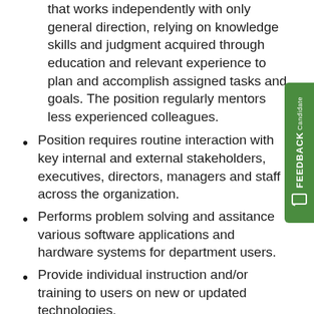that works independently with only general direction, relying on knowledge skills and judgment acquired through education and relevant experience to plan and accomplish assigned tasks and goals. The position regularly mentors less experienced colleagues.
Position requires routine interaction with key internal and external stakeholders, executives, directors, managers and staff across the organization.
Performs problem solving and assitance various software applications and hardware systems for department users.
Provide individual instruction and/or training to users on new or updated technologies.